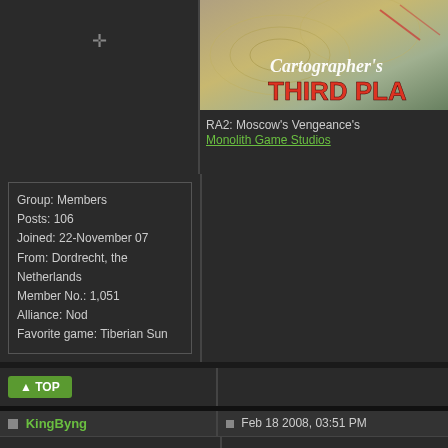[Figure (photo): Cartographer's Third Place award image with topographic map background]
RA2: Moscow's Vengeance's
Monolith Game Studios
Group: Members
Posts: 106
Joined: 22-November 07
From: Dordrecht, the Netherlands
Member No.: 1,051
Alliance: Nod
Favorite game: Tiberian Sun
TOP
KingByng
Feb 18 2008, 03:51 PM
[Figure (logo): Canadian Armed Forces badge/crest with crown, maple leaf wreath, and crossed swords]
It just really bothers me, thats all
--------------------
Check out my first map, redux.